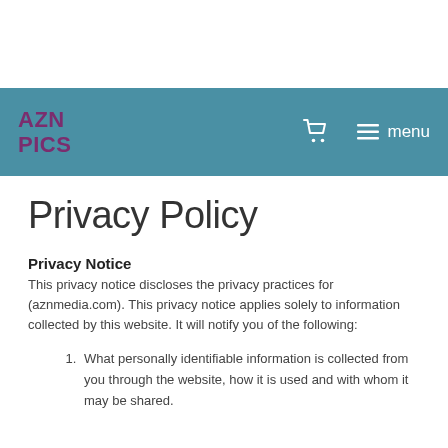AZN PICS
Privacy Policy
Privacy Notice
This privacy notice discloses the privacy practices for (aznmedia.com). This privacy notice applies solely to information collected by this website. It will notify you of the following:
What personally identifiable information is collected from you through the website, how it is used and with whom it may be shared.